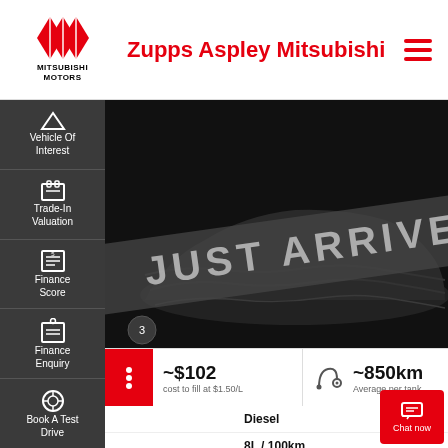[Figure (logo): Mitsubishi Motors logo with three diamond shapes in red, with text MITSUBISHI MOTORS below]
Zupps Aspley Mitsubishi
[Figure (screenshot): Car covered under a black cloth with 'JUST ARRIVED' text overlay on dark background]
~$102 cost to fill at $1.50/L
~850km Average per tank
| Attribute | Value |
| --- | --- |
| Fuel Type | Diesel |
| Fuel Efficiency | 8L / 100km |
| Transmission | Automatic |
Vehicle Of Interest
Trade-In Valuation
Finance Score
Finance Enquiry
Book A Test Drive